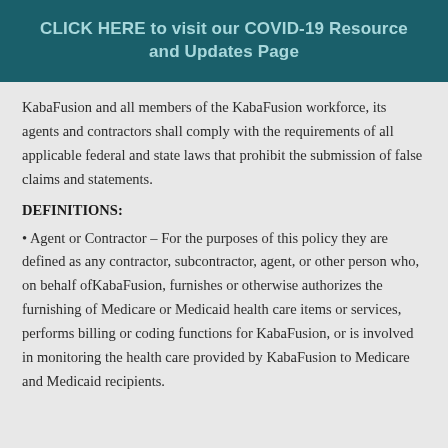CLICK HERE to visit our COVID-19 Resource and Updates Page
KabaFusion and all members of the KabaFusion workforce, its agents and contractors shall comply with the requirements of all applicable federal and state laws that prohibit the submission of false claims and statements.
DEFINITIONS:
Agent or Contractor – For the purposes of this policy they are defined as any contractor, subcontractor, agent, or other person who, on behalf ofKabaFusion, furnishes or otherwise authorizes the furnishing of Medicare or Medicaid health care items or services, performs billing or coding functions for KabaFusion, or is involved in monitoring the health care provided by KabaFusion to Medicare and Medicaid recipients.